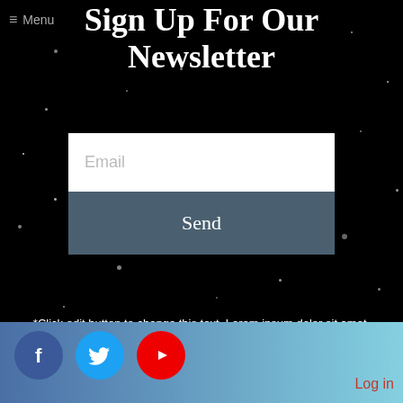≡ Menu
Sign Up For Our Newsletter
Email
Send
*Click edit button to change this text. Lorem ipsum dolor sit amet, consectetur adipiscing elit
[Figure (infographic): Social media icons: Facebook (blue circle with f), Twitter (light blue circle with bird), YouTube (red circle with play button)]
Log in